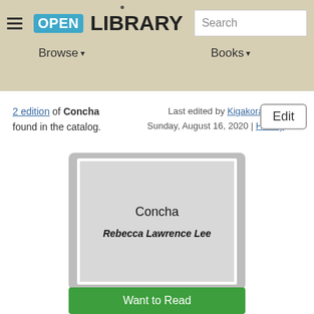OPEN LIBRARY | Browse | Books | Search
2 edition of Concha found in the catalog. Last edited by Kigakora Sunday, August 16, 2020 | History
[Figure (illustration): Book cover placeholder card showing title 'Concha' and author 'Rebecca Lawrence Lee' on a gray background]
Want to Read